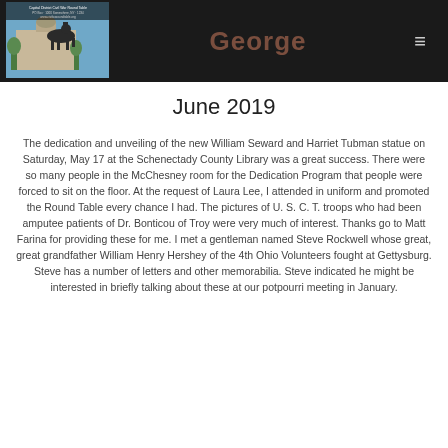George
[Figure (photo): Logo image showing a equestrian statue in front of a building, with text overlay about a Civil War Round Table]
June 2019
The dedication and unveiling of the new William Seward and Harriet Tubman statue on Saturday, May 17 at the Schenectady County Library was a great success. There were so many people in the McChesney room for the Dedication Program that people were forced to sit on the floor. At the request of Laura Lee, I attended in uniform and promoted the Round Table every chance I had. The pictures of U. S. C. T. troops who had been amputee patients of Dr. Bonticou of Troy were very much of interest. Thanks go to Matt Farina for providing these for me. I met a gentleman named Steve Rockwell whose great, great grandfather William Henry Hershey of the 4th Ohio Volunteers fought at Gettysburg. Steve has a number of letters and other memorabilia. Steve indicated he might be interested in briefly talking about these at our potpourri meeting in January.